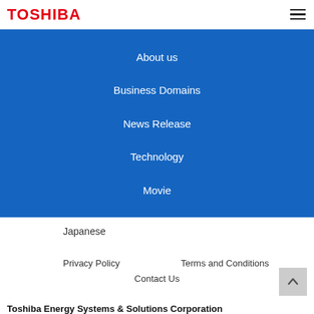TOSHIBA
About us
Business Domains
News Release
Technology
Movie
Japanese
Privacy Policy
Terms and Conditions
Contact Us
Toshiba Energy Systems & Solutions Corporation